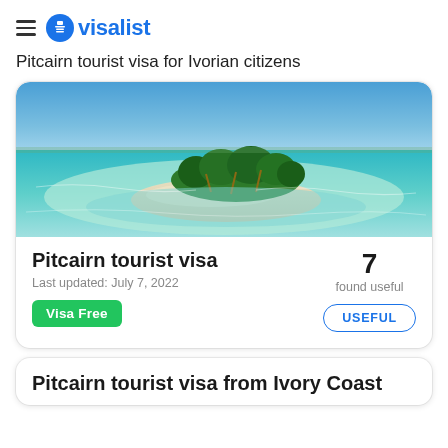visalist
Pitcairn tourist visa for Ivorian citizens
[Figure (photo): Aerial view of a small tropical island with palm trees surrounded by turquoise water and white sand]
Pitcairn tourist visa
Last updated: July 7, 2022
Visa Free
7 found useful
USEFUL
Pitcairn tourist visa from Ivory Coast